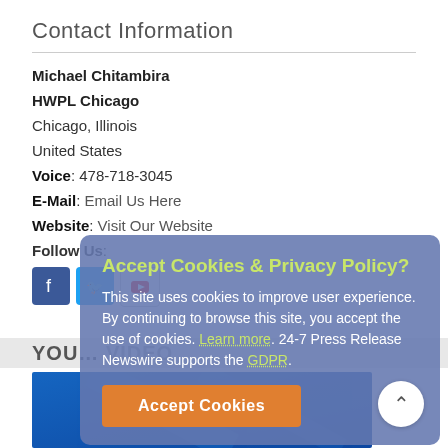Contact Information
Michael Chitambira
HWPL Chicago
Chicago, Illinois
United States
Voice: 478-718-3045
E-Mail: Email Us Here
Website: Visit Our Website
Follow Us:
[Figure (other): Social media icons: Facebook, Twitter, YouTube]
Accept Cookies & Privacy Policy? This site uses cookies to improve user experience. By continuing to browse this site, you accept the use of cookies. Learn more. 24-7 Press Release Newswire supports the GDPR.
Accept Cookies
YOU... VIDEO
[Figure (photo): Blue banner/video thumbnail at bottom of page]